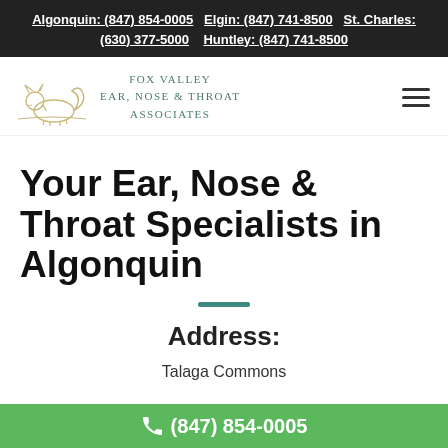Algonquin: (847) 854-0005  Elgin: (847) 741-8500  St. Charles: (630) 377-5000  Huntley: (847) 741-8500
[Figure (logo): Fox Valley Ear, Nose & Throat Associates logo with illustrated fox graphic and teal text]
Your Ear, Nose & Throat Specialists in Algonquin
Address:
Talaga Commons
(847) 854-0005